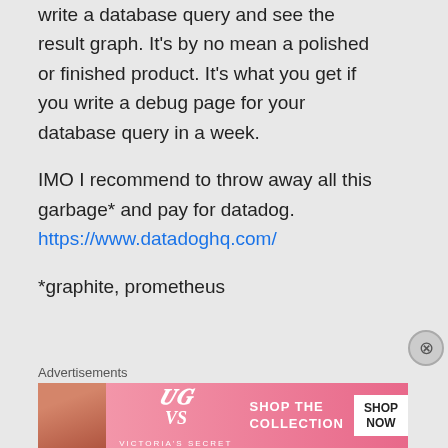single page where you can write a database query and see the result graph. It's by no mean a polished or finished product. It's what you get if you write a debug page for your database query in a week.
IMO I recommend to throw away all this garbage* and pay for datadog. https://www.datadoghq.com/
*graphite, prometheus
Advertisements
[Figure (other): Victoria's Secret advertisement banner with model photo, VS logo, 'SHOP THE COLLECTION' text, and 'SHOP NOW' button on pink background]